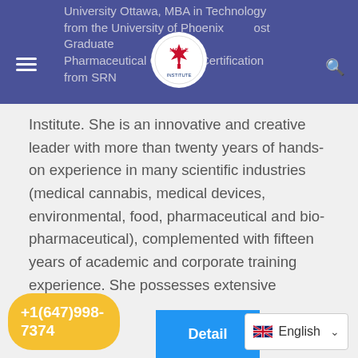University Ottawa, MBA in Technology from the University of Phoenix Post Graduate Pharmaceutical QA & GC Certification from SRN Institute.
Institute. She is an innovative and creative leader with more than twenty years of hands-on experience in many scientific industries (medical cannabis, medical devices, environmental, food, pharmaceutical and bio-pharmaceutical), complemented with fifteen years of academic and corporate training experience. She possesses extensive expertise and knowledge of Quality Control, Quality Assurance, Formulation, Validation, Technology Transfer, Manufacturing Technology, Process ts, Auditing, and Inspection.
+1(647)998-7374
Detail
English